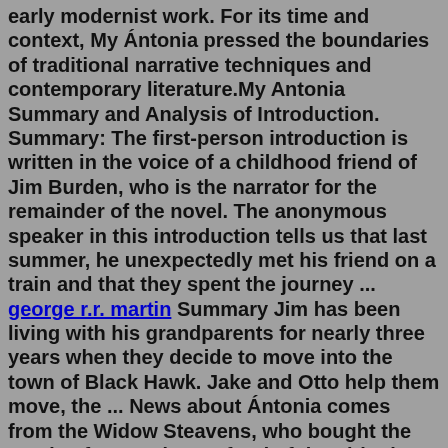early modernist work. For its time and context, My Ántonia pressed the boundaries of traditional narrative techniques and contemporary literature.My Antonia Summary and Analysis of Introduction. Summary: The first-person introduction is written in the voice of a childhood friend of Jim Burden, who is the narrator for the remainder of the novel. The anonymous speaker in this introduction tells us that last summer, he unexpectedly met his friend on a train and that they spent the journey ... george r.r. martin Summary Jim has been living with his grandparents for nearly three years when they decide to move into the town of Black Hawk. Jake and Otto help them move, the ... News about Ántonia comes from the Widow Steavens, who bought the Burden farm and grew fond of the girl. She tells the Burdens about Ambrosch hiring out Ántonia to work like a man.My Ántonia, novel by Willa Cather, her best-known work, published in 1918. It honours the immigrant settlers of the American plains. Narrated by the protagonist's lifelong friend, Jim Burden, the